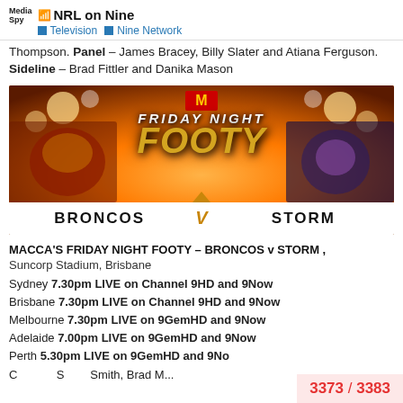NRL on Nine — Television — Nine Network
Thompson. Panel – James Bracey, Billy Slater and Atiana Ferguson. Sideline – Brad Fittler and Danika Mason
[Figure (photo): Friday Night Footy promotional image showing Broncos v Storm matchup with McDonald's branding, orange stadium lighting background]
MACCA'S FRIDAY NIGHT FOOTY – BRONCOS v STORM , Suncorp Stadium, Brisbane
Sydney 7.30pm LIVE on Channel 9HD and 9Now
Brisbane 7.30pm LIVE on Channel 9HD and 9Now
Melbourne 7.30pm LIVE on 9GemHD and 9Now
Adelaide 7.00pm LIVE on 9GemHD and 9Now
Perth 5.30pm LIVE on 9GemHD and 9No
3373 / 3383